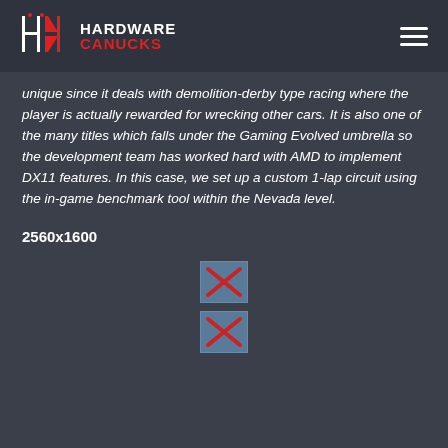HARDWARE CANUCKS
unique since it deals with demolition-derby type racing where the player is actually rewarded for wrecking other cars. It is also one of the many titles which falls under the Gaming Evolved umbrella so the development team has worked hard with AMD to implement DX11 features. In this case, we set up a custom 1-lap circuit using the in-game benchmark tool within the Nevada level.
2560x1600
[Figure (other): Two broken image placeholders (missing images shown as browser broken-image icons)]